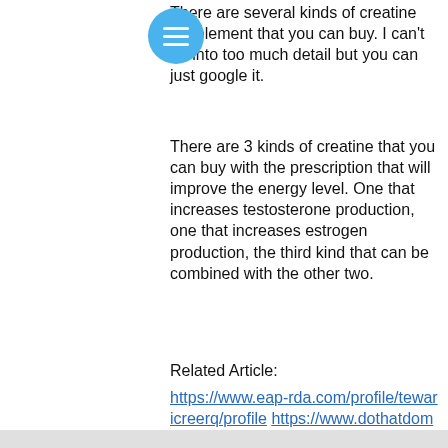There are several kinds of creatine supplement that you can buy. I can't go into too much detail but you can just google it.
There are 3 kinds of creatine that you can buy with the prescription that will improve the energy level. One that increases testosterone production, one that increases estrogen production, the third kind that can be combined with the other two.
Related Article:
https://www.eap-rda.com/profile/tewaricreerq/profile
https://www.dothatdomain.com/profile/rhembeadleg/profile
https://www.curvespark.com/profile/kammerheiniga/profile
https://www.occasionalcreches.com/profile/chongorena7/profile